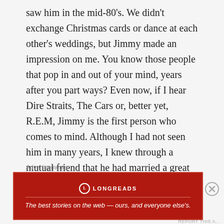saw him in the mid-80's. We didn't exchange Christmas cards or dance at each other's weddings, but Jimmy made an impression on me. You know those people that pop in and out of your mind, years after you part ways? Even now, if I hear Dire Straits, The Cars or, better yet, R.E.M, Jimmy is the first person who comes to mind. Although I had not seen him in many years, I knew through a mutual friend that he had married a great girl, was working for Cantor Fitzgerald, and that they were expecting their second child.
Jimmy died in the North Tower on September 11, 2001. Jimmy, his wife Trish, and their 3 year old son, Finn, had welcomed a new baby boy to the family on September
Advertisements
[Figure (logo): Longreads advertisement banner: red background with Longreads logo and tagline 'The best stories on the web — ours, and everyone else's.']